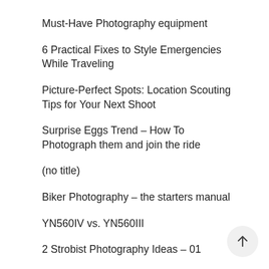Must-Have Photography equipment
6 Practical Fixes to Style Emergencies While Traveling
Picture-Perfect Spots: Location Scouting Tips for Your Next Shoot
Surprise Eggs Trend – How To Photograph them and join the ride
(no title)
Biker Photography – the starters manual
YN560IV vs. YN560III
2 Strobist Photography Ideas – 01